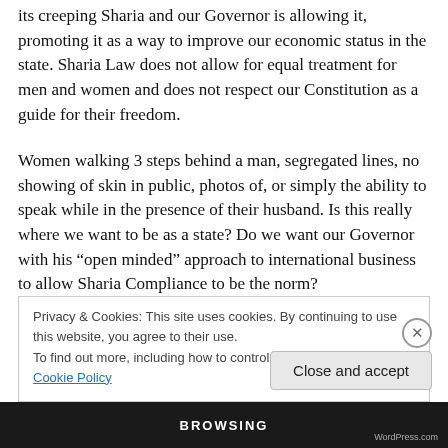its creeping Sharia and our Governor is allowing it, promoting it as a way to improve our economic status in the state. Sharia Law does not allow for equal treatment for men and women and does not respect our Constitution as a guide for their freedom.
Women walking 3 steps behind a man, segregated lines, no showing of skin in public, photos of, or simply the ability to speak while in the presence of their husband. Is this really where we want to be as a state? Do we want our Governor with his “open minded” approach to international business to allow Sharia Compliance to be the norm?
Privacy & Cookies: This site uses cookies. By continuing to use this website, you agree to their use.
To find out more, including how to control cookies, see here: Cookie Policy
Close and accept